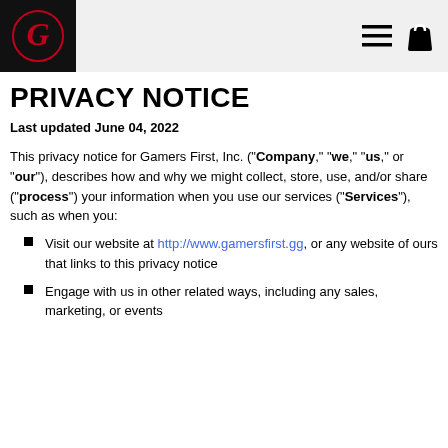Gamers First logo and navigation
PRIVACY NOTICE
Last updated June 04, 2022
This privacy notice for Gamers First, Inc. ("Company," "we," "us," or "our"), describes how and why we might collect, store, use, and/or share ("process") your information when you use our services ("Services"), such as when you:
Visit our website at http://www.gamersfirst.gg, or any website of ours that links to this privacy notice
Engage with us in other related ways, including any sales, marketing, or events